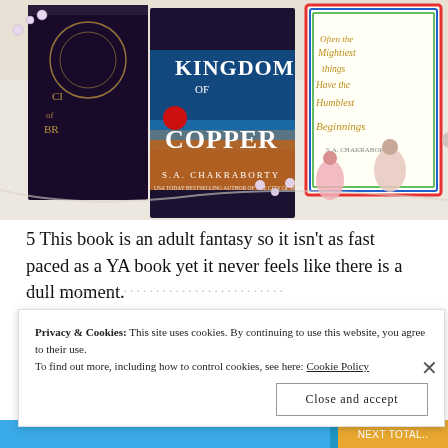[Figure (photo): Flatlay photo showing books including 'Kingdom of Copper' by S.A. Chakraborty and 'City of Brass', along with jewelry and a decorative card with a handwritten quote: 'Often the mightiest things have the humblest beginnings. S.A. Chakraborty']
5 This book is an adult fantasy so it isn't as fast paced as a YA book yet it never feels like there is a dull moment.
Privacy & Cookies: This site uses cookies. By continuing to use this website, you agree to their use. To find out more, including how to control cookies, see here: Cookie Policy
Close and accept